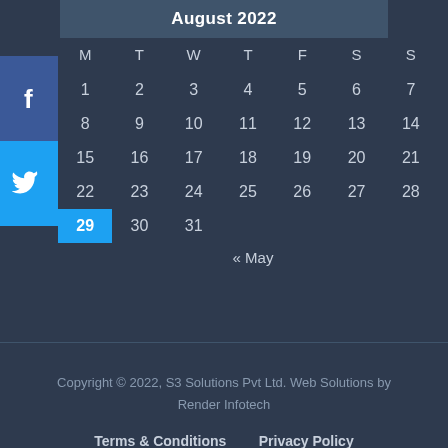August 2022
| M | T | W | T | F | S | S |
| --- | --- | --- | --- | --- | --- | --- |
|  | 1 | 2 | 3 | 4 | 5 | 6 | 7 |
|  | 8 | 9 | 10 | 11 | 12 | 13 | 14 |
|  | 15 | 16 | 17 | 18 | 19 | 20 | 21 |
|  | 22 | 23 | 24 | 25 | 26 | 27 | 28 |
|  | 29 | 30 | 31 |  |  |  |  |
« May
Copyright © 2022, S3 Solutions Pvt Ltd. Web Solutions by Render Infotech
Terms & Conditions   Privacy Policy